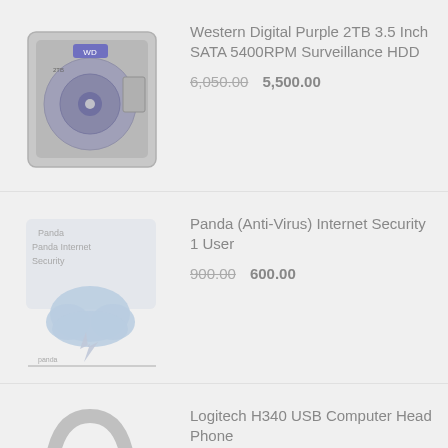[Figure (photo): Western Digital Purple 2TB hard drive disk product image]
Western Digital Purple 2TB 3.5 Inch SATA 5400RPM Surveillance HDD
6,050.00  5,500.00
[Figure (photo): Panda Internet Security software product image with cloud and lightning bolt logo]
Panda (Anti-Virus) Internet Security 1 User
900.00  600.00
[Figure (photo): Logitech H340 USB Computer Head Phone product image showing headphone arc]
Logitech H340 USB Computer Head Phone